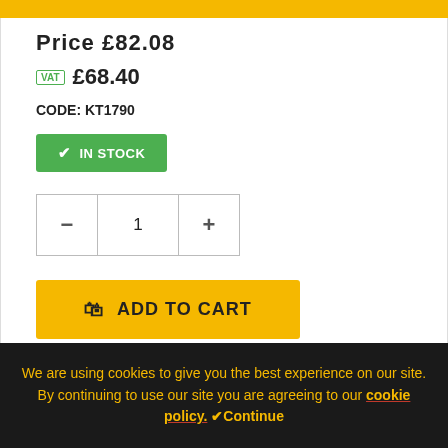Price £82.08
VAT £68.40
CODE: KT1790
✓ IN STOCK
- 1 +
ADD TO CART
[Figure (photo): Product image of a voltage tester/pen with black and red probes]
We are using cookies to give you the best experience on our site. By continuing to use our site you are agreeing to our cookie policy. ✓Continue